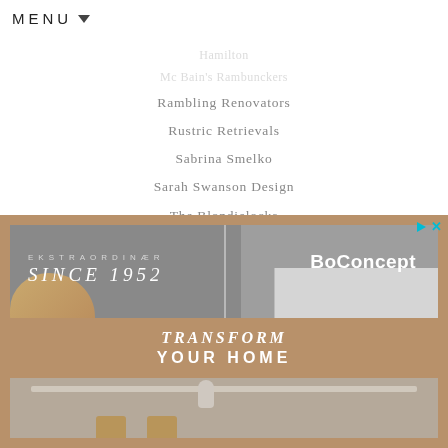MENU
Rambling Renovators
Rustric Retrievals
Sabrina Smelko
Sarah Swanson Design
The Blondielocks
The Coveteur
The Sweet Escape
[Figure (photo): BoConcept advertisement showing a modern interior room with gray walls, a dining table, chairs, and a white cabinet. Text overlays read: EKSTRAORDINÆR SINCE 1952, BoConcept, TRANSFORM YOUR HOME.]